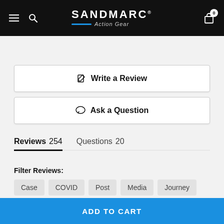SANDMARC Action Gear — navigation header with hamburger menu, search, logo, and cart (0 items)
✏ Write a Review
💬 Ask a Question
Reviews 254   Questions 20
Filter Reviews:
Case  COVID  Post  Media  Journey
ADD TO CART